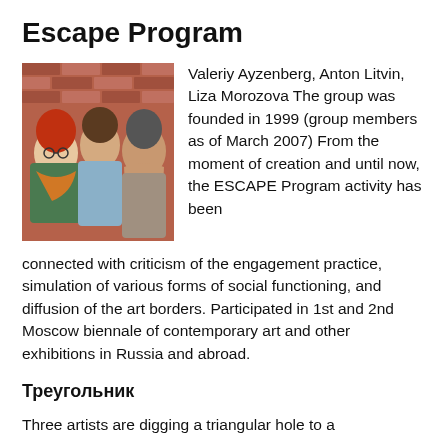Escape Program
[Figure (photo): Three people posing together in front of a brick wall — a woman with red hair and glasses wearing an orange scarf, a younger man in the center, and an older bearded man on the right.]
Valeriy Ayzenberg, Anton Litvin, Liza Morozova The group was founded in 1999 (group members as of March 2007) From the moment of creation and until now, the ESCAPE Program activity has been connected with criticism of the engagement practice, simulation of various forms of social functioning, and diffusion of the art borders. Participated in 1st and 2nd Moscow biennale of contemporary art and other exhibitions in Russia and abroad.
Треугольник
Three artists are digging a triangular hole to a